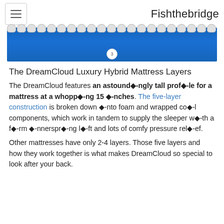Fishthebridge
[Figure (photo): Close-up photo of the DreamCloud mattress edge showing blue sides and white pillow-top bumps along the top, with a slide indicator showing number 3]
The DreamCloud Luxury Hybrid Mattress Layers
The DreamCloud features an astoundingly tall profile for a mattress at a whopping 15 inches. The five-layer construction is broken down into foam and wrapped coil components, which work in tandem to supply the sleeper with a firm innerspring lift and lots of comfy pressure relief.
Other mattresses have only 2-4 layers. Those five layers and how they work together is what makes DreamCloud so special to look after your back.